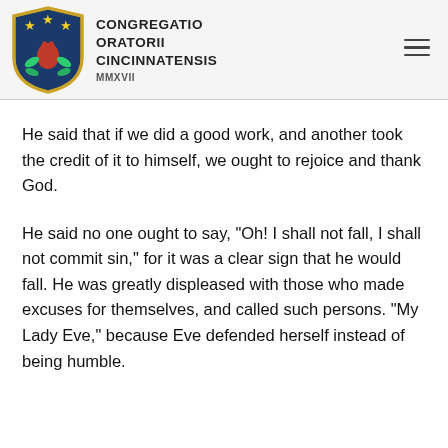CONGREGATIO ORATORII CINCINNATENSIS MMXVII
He said that if we did a good work, and another took the credit of it to himself, we ought to rejoice and thank God.
He said no one ought to say, "Oh! I shall not fall, I shall not commit sin," for it was a clear sign that he would fall. He was greatly displeased with those who made excuses for themselves, and called such persons. "My Lady Eve," because Eve defended herself instead of being humble.